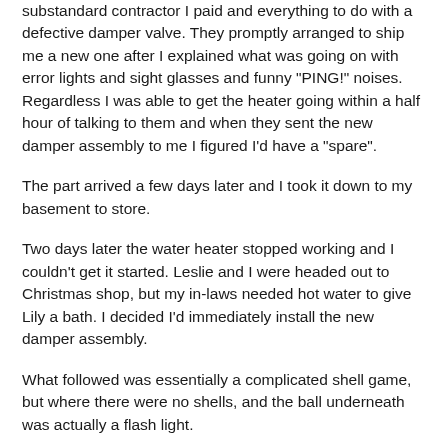substandard contractor I paid and everything to do with a defective damper valve.  They promptly arranged to ship me a new one after I explained what was going on with error lights and sight glasses and funny "PING!" noises.  Regardless I was able to get the heater going within a half hour of talking to them and when they sent the new damper assembly to me I figured I'd have a "spare".
The part arrived a few days later and I took it down to my basement to store.
Two days later the water heater stopped working and I couldn't get it started.  Leslie and I were headed out to Christmas shop, but my in-laws needed hot water to give Lily a bath.  I decided I'd immediately install the new damper assembly.
What followed was essentially a complicated shell game, but where there were no shells, and the ball underneath was actually a flash light.
I had a screw driver, a flashlight, and a set of instructions.  I